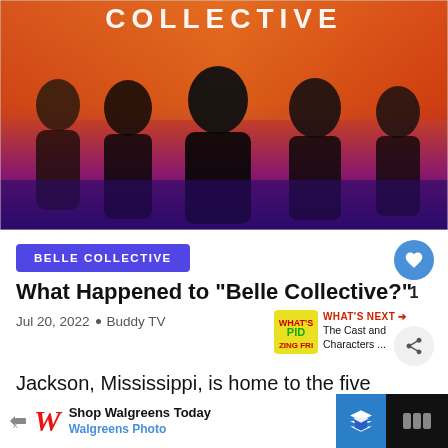[Figure (photo): Promotional image for Belle Collective TV show featuring five women in black outfits against an orange-to-purple gradient background, with the show title COLLECTIVE visible at the top]
BELLE COLLECTIVE
What Happened to “Belle Collective?”
Jul 20, 2022 • Buddy TV
WHAT’S NEXT → The Cast and Characters ...
Jackson, Mississippi, is home to the five so
Shop Walgreens Today Walgreens Photo